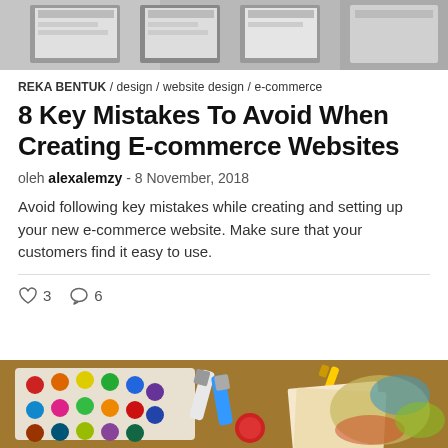[Figure (photo): Top cropped photo showing what appears to be design cards or printed materials on a desk, grayscale/muted]
REKA BENTUK / design / website design / e-commerce
8 Key Mistakes To Avoid When Creating E-commerce Websites
oleh alexalemzy - 8 November, 2018
Avoid following key mistakes while creating and setting up your new e-commerce website. Make sure that your customers find it easy to use.
♡ 3   ○ 6
[Figure (photo): Bottom cropped photo showing colorful watercolor paint palette, paint tubes, and brushes on a wooden table]